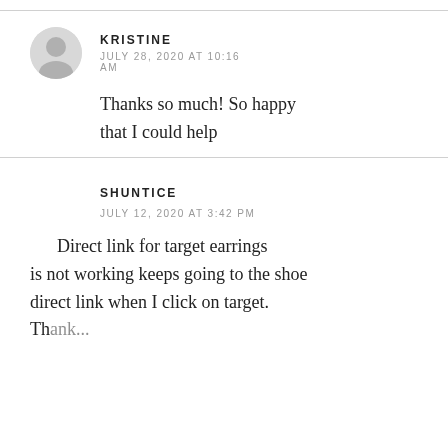KRISTINE
JULY 28, 2020 AT 10:16 AM
Thanks so much! So happy that I could help
SHUNTICE
JULY 12, 2020 AT 3:42 PM
Direct link for target earrings is not working keeps going to the shoe direct link when I click on target. Thank...